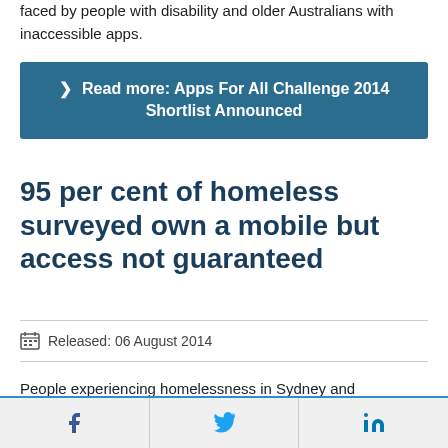faced by people with disability and older Australians with inaccessible apps.
Read more: Apps For All Challenge 2014 Shortlist Announced
95 per cent of homeless surveyed own a mobile but access not guaranteed
Released: 06 August 2014
People experiencing homelessness in Sydney and